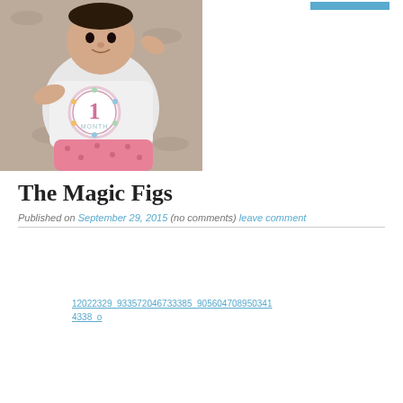[Figure (photo): Baby wearing a white onesie with a '1 Month' sticker/badge, lying on a textured gray rug, wearing pink patterned pants]
The Magic Figs
Published on September 29, 2015  (no comments)  leave comment
[Figure (photo): Broken image placeholder link: 12022329_933572046733385_905604708950341 4338_o]